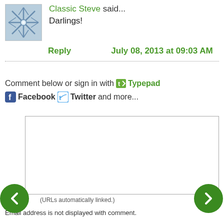[Figure (illustration): Avatar thumbnail showing a blue-grey snowflake/star pattern on light background]
Classic Steve said... Darlings!
Reply   July 08, 2013 at 09:03 AM
Comment below or sign in with Typepad Facebook Twitter and more...
[Figure (screenshot): Empty comment text area input box]
(URLs automatically linked.)
Email address is not displayed with comment.